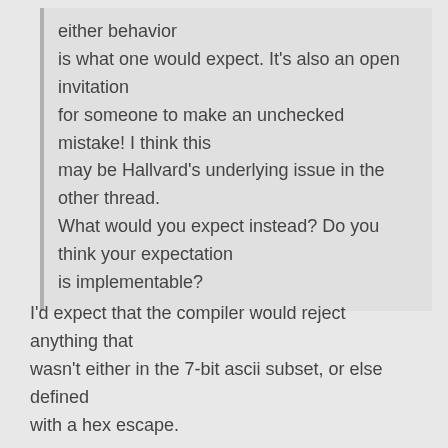either behavior is what one would expect. It's also an open invitation for someone to make an unchecked mistake! I think this may be Hallvard's underlying issue in the other thread. What would you expect instead? Do you think your expectation is implementable?
I'd expect that the compiler would reject anything that wasn't either in the 7-bit ascii subset, or else defined with a hex escape.